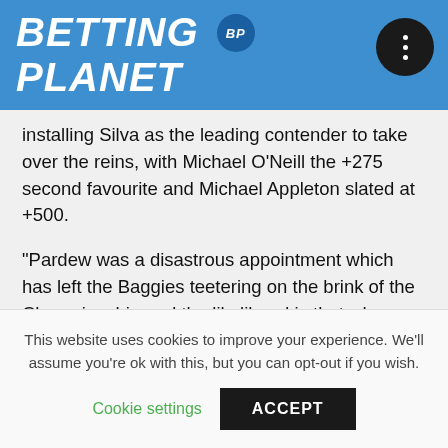BETTING BP PLANET
installing Silva as the leading contender to take over the reins, with Michael O'Neill the +275 second favourite and Michael Appleton slated at +500.
“Pardew was a disastrous appointment which has left the Baggies teetering on the brink of the Championship and the likelihood is that whoever takes over will have to manage them outside the Premier League,” said William Hill spokesman Joe Crilly.
This website uses cookies to improve your experience. We’ll assume you’re ok with this, but you can opt-out if you wish.
Cookie settings   ACCEPT